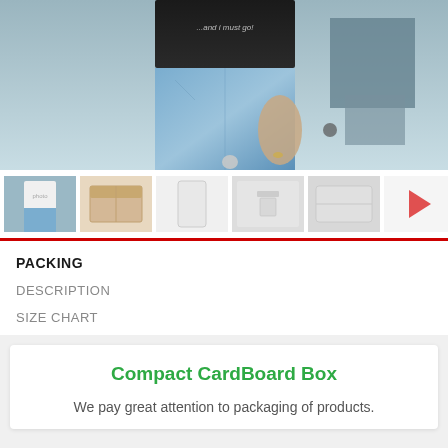[Figure (photo): Main product image showing a person wearing a black t-shirt with text '...and I must go!' and light blue jeans, against a gray-blue wall with dark painted boxes on the right side.]
[Figure (photo): Thumbnail row with 5 product images: 1) person in white t-shirt, 2) cardboard box packaging, 3) back view of white t-shirt, 4) close-up of t-shirt fabric/tag, 5) folded gray t-shirt, plus a right arrow navigation button.]
PACKING
DESCRIPTION
SIZE CHART
Compact CardBoard Box
We pay great attention to packaging of products.